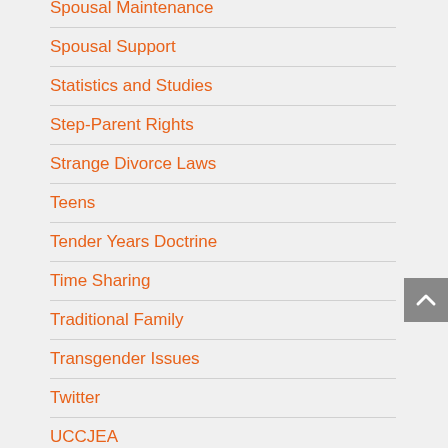Spousal Maintenance
Spousal Support
Statistics and Studies
Step-Parent Rights
Strange Divorce Laws
Teens
Tender Years Doctrine
Time Sharing
Traditional Family
Transgender Issues
Twitter
UCCJEA
Uncategorized
Violence